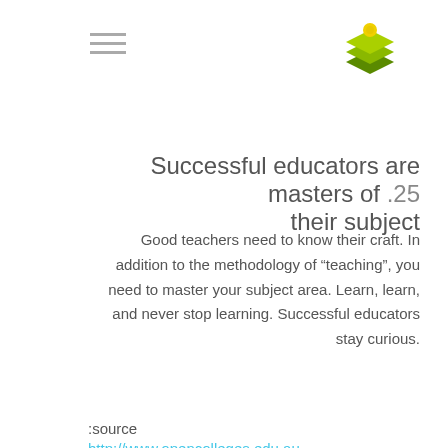[Figure (logo): Green graduation cap / stacked layers logo icon in top right]
Successful educators are masters of their subject .25
Good teachers need to know their craft. In addition to the methodology of “teaching”, you need to master your subject area. Learn, learn, and never stop learning. Successful educators stay curious.
:source
http://www.opencolleges.edu.au
successful teaching
educator
education
teaching
teacher